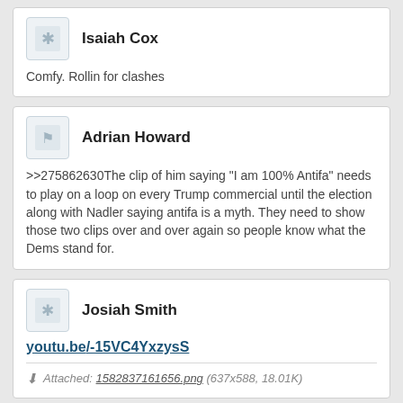Isaiah Cox
Comfy. Rollin for clashes
Adrian Howard
>>275862630The clip of him saying "I am 100% Antifa" needs to play on a loop on every Trump commercial until the election along with Nadler saying antifa is a myth. They need to show those two clips over and over again so people know what the Dems stand for.
Josiah Smith
youtu.be/-15VC4YxzysS
Attached: 1582837161656.png (637x588, 18.01K)